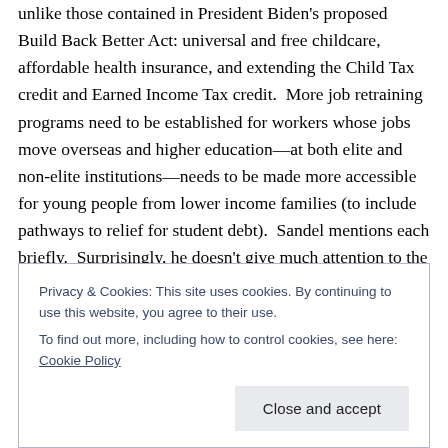unlike those contained in President Biden's proposed Build Back Better Act: universal and free childcare, affordable health insurance, and extending the Child Tax credit and Earned Income Tax credit.  More job retraining programs need to be established for workers whose jobs move overseas and higher education—at both elite and non-elite institutions—needs to be made more accessible for young people from lower income families (to include pathways to relief for student debt).  Sandel mentions each briefly.  Surprisingly, he doesn't give much attention to the potential of a reinvigorated organized labor movement to
Privacy & Cookies: This site uses cookies. By continuing to use this website, you agree to their use.
To find out more, including how to control cookies, see here: Cookie Policy